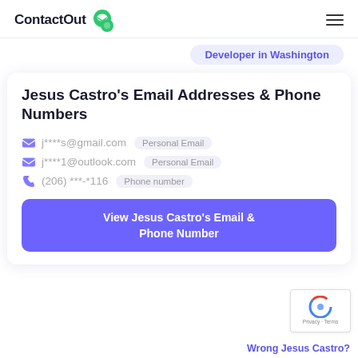ContactOut [logo]
Developer in Washington
Jesus Castro's Email Addresses & Phone Numbers
j****s@gmail.com  Personal Email
j****1@outlook.com  Personal Email
(206) ***-*116  Phone number
View Jesus Castro's Email & Phone Number
Wrong Jesus Castro?